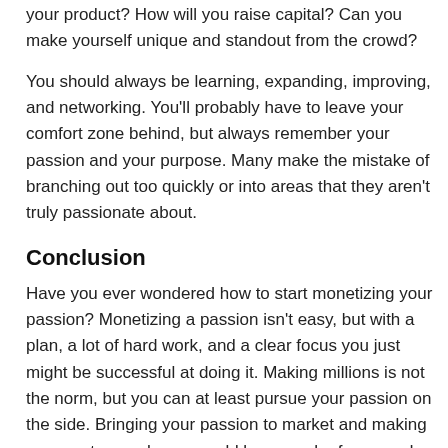your product? How will you raise capital? Can you make yourself unique and standout from the crowd?
You should always be learning, expanding, improving, and networking. You'll probably have to leave your comfort zone behind, but always remember your passion and your purpose. Many make the mistake of branching out too quickly or into areas that they aren't truly passionate about.
Conclusion
Have you ever wondered how to start monetizing your passion? Monetizing a passion isn't easy, but with a plan, a lot of hard work, and a clear focus you just might be successful at doing it. Making millions is not the norm, but you can at least pursue your passion on the side. Bringing your passion to market and making your customers happy could be enough of a reward.
Read Also:
Cutting the Costs of Your Hobbies Without Giving Them Up